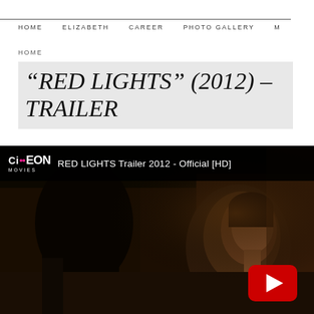HOME   ELIZABETH   CAREER   PHOTO GALLERY   M
HOME
“RED LIGHTS” (2012) – TRAILER
[Figure (screenshot): YouTube video embed showing RED LIGHTS Trailer 2012 - Official [HD] from CiEON Movies channel. A dark cinematic still showing a person with short brown hair. Red YouTube play button visible in lower right corner.]